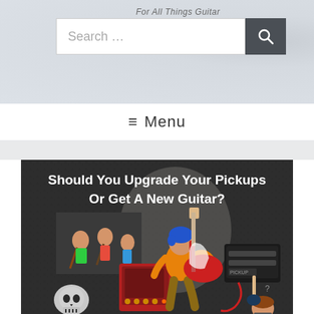[Figure (screenshot): Website header with partial site title 'For All Things Guitar', a search bar with search button, and a hamburger Menu navigation element. Below is an article featured image showing 'Should You Upgrade Your Pickups Or Get A New Guitar?' with illustrated guitarist, amplifier, pickup box, and band photo on dark background.]